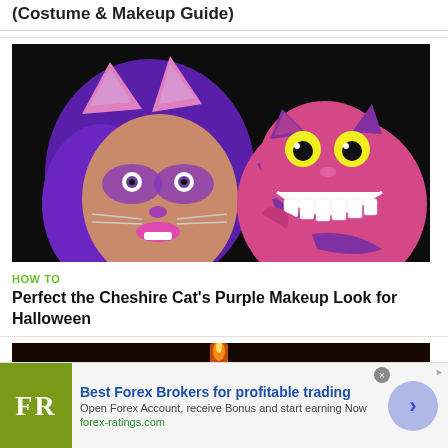(Costume & Makeup Guide)
[Figure (photo): Woman with purple hair and Cheshire Cat makeup with cat ears headband posed next to animated Cheshire Cat from Alice in Wonderland]
HOW TO
Perfect the Cheshire Cat's Purple Makeup Look for Halloween
[Figure (photo): Dark Halloween themed image with orange and red glowing elements]
Best Forex Brokers for profitable trading
Open Forex Account, receive Bonus and start earning Now
forex-ratings.com